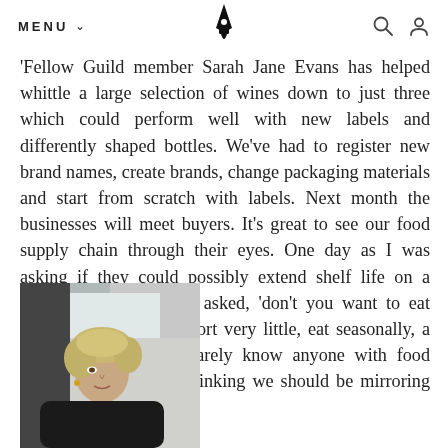MENU
'Fellow Guild member Sarah Jane Evans has helped whittle a large selection of wines down to just three which could perform well with new labels and differently shaped bottles. We've had to register new brand names, create brands, change packaging materials and start from scratch with labels. Next month the businesses will meet buyers. It's great to see our food supply chain through their eyes. One day as I was asking if they could possibly extend shelf life on a product, and the client asked, 'don't you want to eat fresh food?' ' They import very little, eat seasonally, a very varied diet and rarely know anyone with food allergies. I can't help thinking we should be mirroring their systems more.'
[Figure (photo): A woman with curly blonde/grey hair, wearing a dark top and pearl necklace, photographed from the side in a light interior setting.]